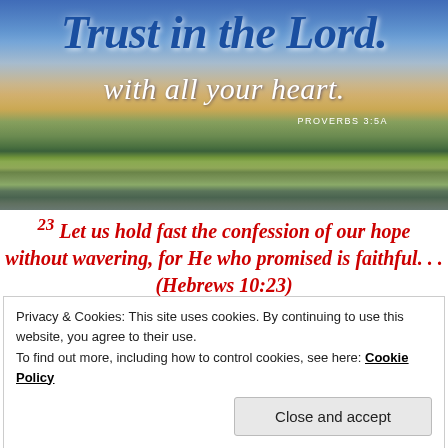[Figure (photo): Scenic landscape with lake, trees, and dramatic sky with text overlay reading 'Trust in the Lord. with all your heart. PROVERBS 3:5A']
23 Let us hold fast the confession of our hope without wavering, for He who promised is faithful. . . (Hebrews 10:23)
Privacy & Cookies: This site uses cookies. By continuing to use this website, you agree to their use.
To find out more, including how to control cookies, see here: Cookie Policy
Close and accept
experienced fear: